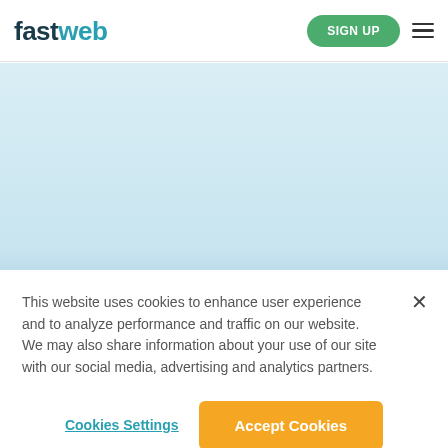fastweb — SIGN UP navigation
[Figure (other): Light blue banner area placeholder]
This website uses cookies to enhance user experience and to analyze performance and traffic on our website. We may also share information about your use of our site with our social media, advertising and analytics partners.
Cookies Settings
Accept Cookies